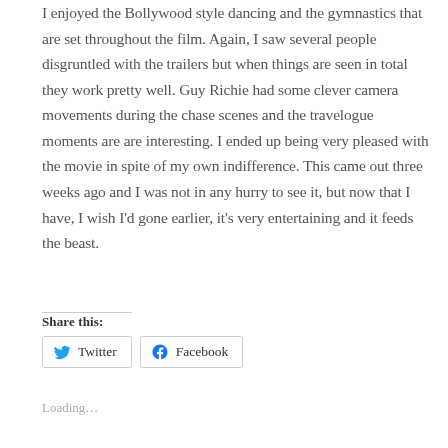I enjoyed the Bollywood style dancing and the gymnastics that are set throughout the film. Again, I saw several people disgruntled with the trailers but when things are seen in total they work pretty well. Guy Richie had some clever camera movements during the chase scenes and the travelogue moments are are interesting. I ended up being very pleased with the movie in spite of my own indifference. This came out three weeks ago and I was not in any hurry to see it, but now that I have, I wish I'd gone earlier, it's very entertaining and it feeds the beast.
Share this:
Twitter
Facebook
Loading…